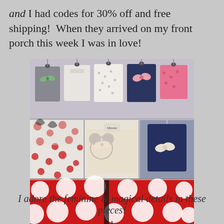and I had codes for 30% off and free shipping!  When they arrived on my front porch this week I was in love!
[Figure (photo): A photo collage of Disney-themed women's clothing items including polka dot tops, Minnie Mouse ear headbands, bow-detailed shirts in navy and white, and a close-up of red and white polka dot fabric with a Disney Minnie Mouse tag. Watermark reads ChattingOverChocolate.com]
I adore the feminine & magical details in these pieces!